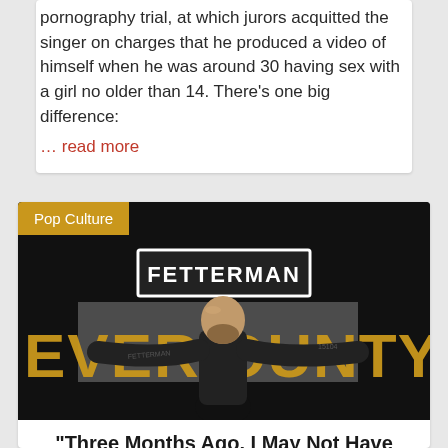pornography trial, at which jurors acquitted the singer on charges that he produced a video of himself when he was around 30 having sex with a girl no older than 14. There's one big difference:
… read more
Pop Culture
[Figure (photo): Photo of John Fetterman standing with arms outstretched in front of a sign reading FETTERMAN with text EVERY COUNTY visible in background]
“Three Months Ago, I May Not Have